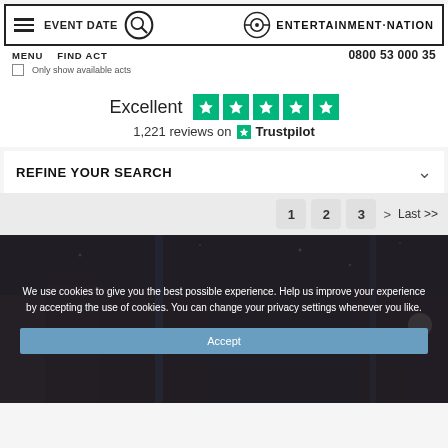Entertainment Nation - MENU | FIND ACT | 0800 53 000 35
Only show available acts
Excellent  1,221 reviews on Trustpilot
REFINE YOUR SEARCH
1  2  3  >  Last >>
We use cookies to give you the best possible experience. Help us improve your experience by accepting the use of cookies. You can change your privacy settings whenever you like.
Accept